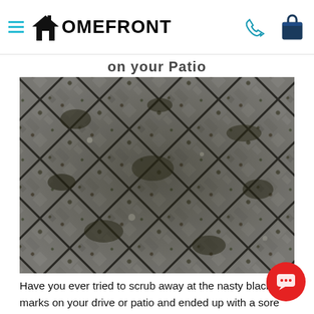HOMEFRONT — navigation bar with hamburger menu, logo, phone icon, and shopping bag icon
on your Patio
[Figure (photo): Close-up photograph of stone or block paving with dark black/green lichen and moss growing in the joints between the stones, arranged in a diagonal diamond pattern.]
Have you ever tried to scrub away at the nasty black marks on your drive or patio and ended up with a sore back and knees but made very little difference to the black spots? This is because black lichen (which is wh…